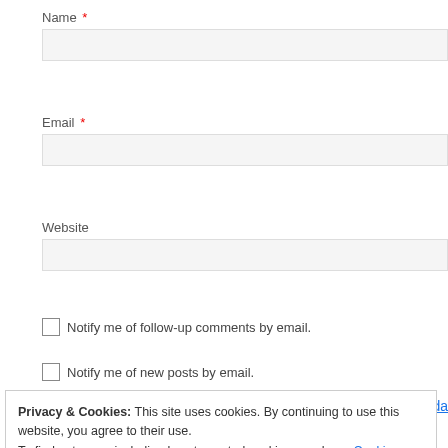Name *
Email *
Website
Notify me of follow-up comments by email.
Notify me of new posts by email.
Privacy & Cookies: This site uses cookies. By continuing to use this website, you agree to their use.
To find out more, including how to control cookies, see here: Cookie Policy
Close and accept
Copyright